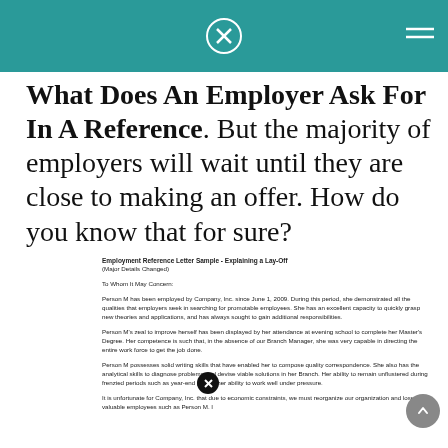What Does An Employer Ask For In A Reference. But the majority of employers will wait until they are close to making an offer. How do you know that for sure?
[Figure (screenshot): Employment reference letter sample document showing a formal letter explaining a lay-off, with sections including salutation 'To Whom It May Concern' and multiple paragraphs about Person M's employment at Company Inc.]